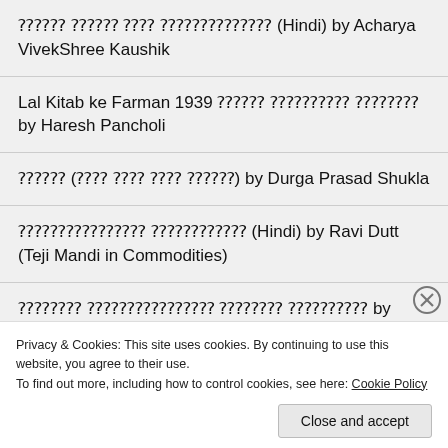[Hindi text] (Hindi) by Acharya VivekShree Kaushik
Lal Kitab ke Farman 1939 [Hindi text] by Haresh Pancholi
[Hindi text] (by Durga Prasad ko pata) by Durga Prasad Shukla
[Hindi text] (Hindi) by Ravi Dutt (Teji Mandi in Commodities)
[Hindi text] by Girdhari Lal Sharma
[Hindi text] by Ram Chandra Kapoor
Advertisements
Privacy & Cookies: This site uses cookies. By continuing to use this website, you agree to their use.
To find out more, including how to control cookies, see here: Cookie Policy
Close and accept